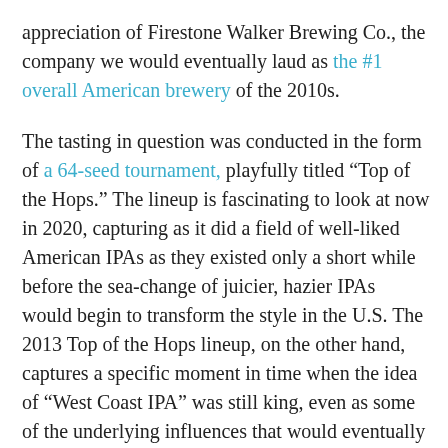appreciation of Firestone Walker Brewing Co., the company we would eventually laud as the #1 overall American brewery of the 2010s.
The tasting in question was conducted in the form of a 64-seed tournament, playfully titled “Top of the Hops.” The lineup is fascinating to look at now in 2020, capturing as it did a field of well-liked American IPAs as they existed only a short while before the sea-change of juicier, hazier IPAs would begin to transform the style in the U.S. The 2013 Top of the Hops lineup, on the other hand, captures a specific moment in time when the idea of “West Coast IPA” was still king, even as some of the underlying influences that would eventually push us in the direction of hazy, juicy IPA were beginning to merge.